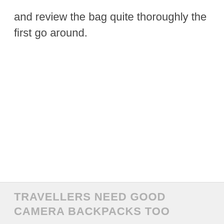and review the bag quite thoroughly the first go around.
TRAVELLERS NEED GOOD CAMERA BACKPACKS TOO